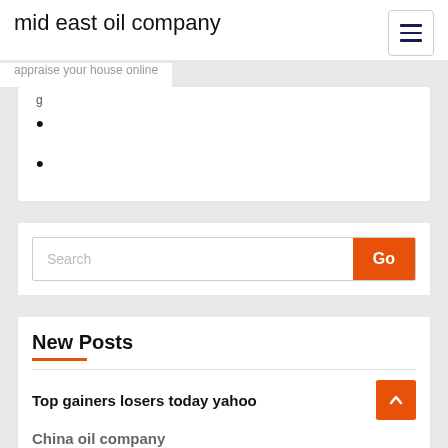mid east oil company
appraise your house online
Search
New Posts
Top gainers losers today yahoo
China oil company